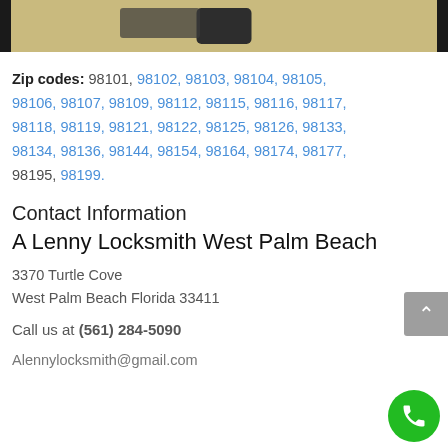[Figure (photo): Partial photo of a lock or locksmith tool on a tan/gold background with black borders on left and right edges]
Zip codes: 98101, 98102, 98103, 98104, 98105, 98106, 98107, 98109, 98112, 98115, 98116, 98117, 98118, 98119, 98121, 98122, 98125, 98126, 98133, 98134, 98136, 98144, 98154, 98164, 98174, 98177, 98195, 98199.
Contact Information
A Lenny Locksmith West Palm Beach
3370 Turtle Cove
West Palm Beach Florida 33411
Call us at (561) 284-5090
Alennylocksmith@gmail.com